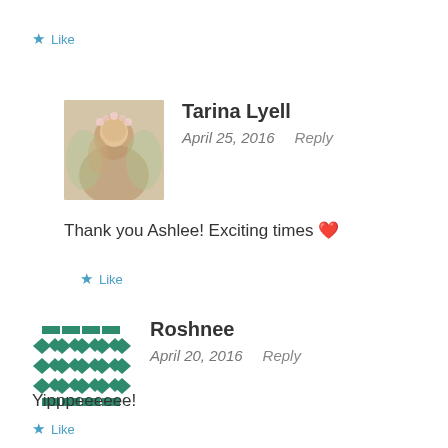Like
Tarina Lyell
April 25, 2016   Reply
Thank you Ashlee! Exciting times ❤️
Like
Roshnee
April 20, 2016   Reply
Yipppeeeeee!
Like